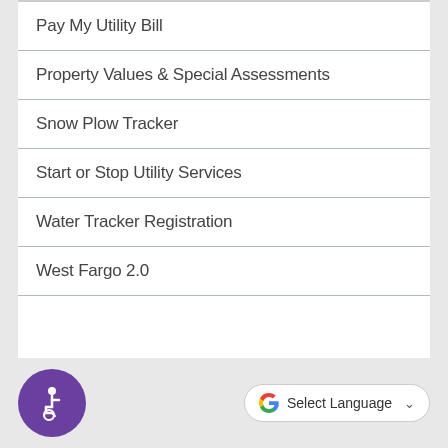Pay My Utility Bill
Property Values & Special Assessments
Snow Plow Tracker
Start or Stop Utility Services
Water Tracker Registration
West Fargo 2.0
[Figure (illustration): Purple circular accessibility icon with wheelchair user symbol in white]
[Figure (logo): Google Translate button with G logo and 'Select Language' text and dropdown chevron]